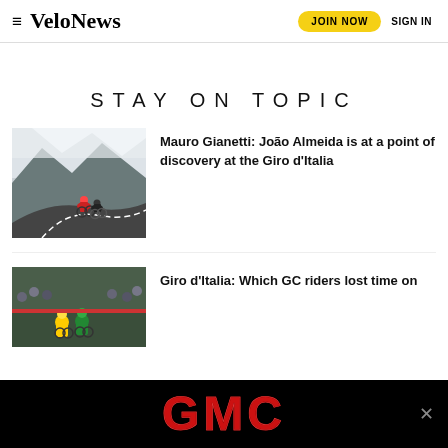VeloNews — JOIN NOW  SIGN IN
STAY ON TOPIC
[Figure (photo): Cyclists racing on a mountain road with snow in the background]
Mauro Gianetti: João Almeida is at a point of discovery at the Giro d'Italia
[Figure (photo): Cyclists at Giro d'Italia with crowd watching]
Giro d'Italia: Which GC riders lost time on the stage today
[Figure (photo): GMC advertisement banner]